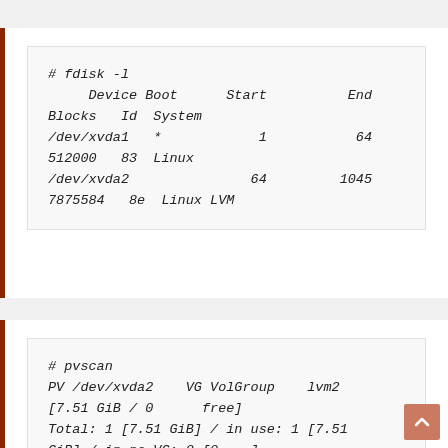# fdisk -l
     Device Boot      Start          End
Blocks   Id  System
/dev/xvda1   *            1           64
512000   83  Linux
/dev/xvda2               64         1045
7875584   8e  Linux LVM
# pvscan
PV /dev/xvda2    VG VolGroup    lvm2
[7.51 GiB / 0      free]
Total: 1 [7.51 GiB] / in use: 1 [7.51
GiB] / in no VG: 0 [0    ]